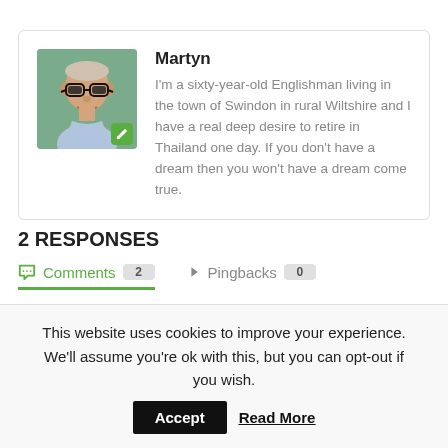[Figure (photo): Author card with avatar photo of Martyn (older bald man with glasses) and biographical text]
Martyn
I'm a sixty-year-old Englishman living in the town of Swindon in rural Wiltshire and I have a real deep desire to retire in Thailand one day. If you don't have a dream then you won't have a dream come true.
2 RESPONSES
Comments 2   Pingbacks 0
This website uses cookies to improve your experience. We'll assume you're ok with this, but you can opt-out if you wish. Accept Read More